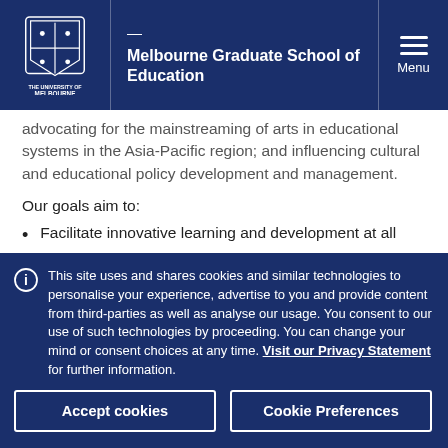Melbourne Graduate School of Education
advocating for the mainstreaming of arts in educational systems in the Asia-Pacific region; and influencing cultural and educational policy development and management.
Our goals aim to:
Facilitate innovative learning and development at all
This site uses and shares cookies and similar technologies to personalise your experience, advertise to you and provide content from third-parties as well as analyse our usage. You consent to our use of such technologies by proceeding. You can change your mind or consent choices at any time. Visit our Privacy Statement for further information.